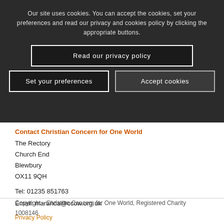Our site uses cookies. You can accept the cookies, set your preferences and read our privacy and cookies policy by clicking the appropriate buttons.
Read our privacy policy
Set your preferences
Accept cookies
Contact Christian Concern for One World
The Rectory
Church End
Blewbury
OX11 9QH
Tel: 01235 851763
Email: maranda@ccow.org.uk
Copyright - Christian Concern for One World, Registered Charity 1008146
Privacy Policy